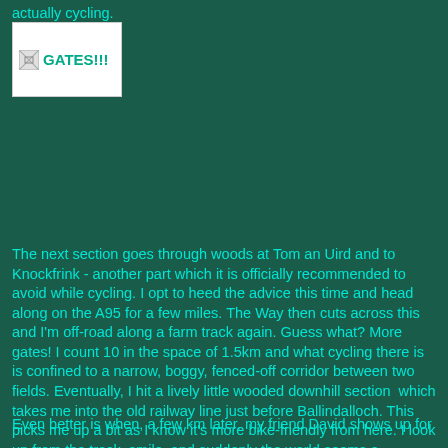actually cycling.
[Figure (photo): Broken image placeholder labeled GATES!!!]
The next section goes through woods at Tom an Uird and to Knockfrink - another part which it is officially recommended to avoid while cycling. I opt to heed the advice this time and head along on the A95 for a few miles. The Way then cuts across this and I'm off-road along a farm track again. Guess what? More gates! I count 10 in the space of 1.5km and what cycling there is is confined to a narrow, boggy, fenced-off corridor between two fields. Eventually, I hit a lively little wooded downhill section which takes me into the old railway line just before Ballindalloch. This picks me up a bit as I know it's more bike-friendly from here. I look up from the track, smile, and suddenly the world seems a friendlier place despite the track itself being very muddy.
Even better is when, a few km later, my friend David shows up for